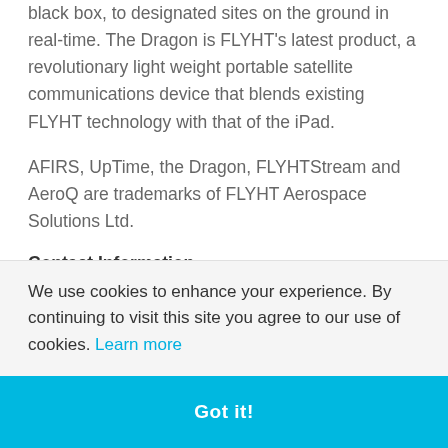black box, to designated sites on the ground in real-time. The Dragon is FLYHT's latest product, a revolutionary light weight portable satellite communications device that blends existing FLYHT technology with that of the iPad.
AFIRS, UpTime, the Dragon, FLYHTStream and AeroQ are trademarks of FLYHT Aerospace Solutions Ltd.
Contact Information
FLYHT Aerospace Solutions Ltd.
Nola M. Heale, CPA (CA)
We use cookies to enhance your experience. By continuing to visit this site you agree to our use of cookies. Learn more
Got it!